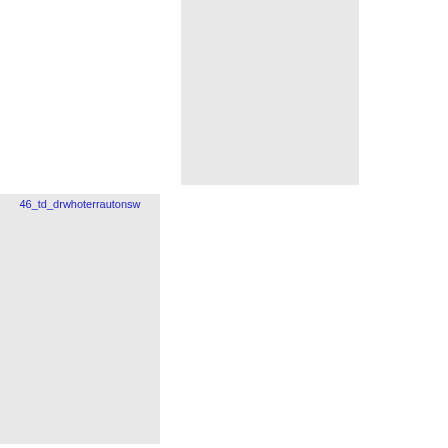[Figure (other): Broken image placeholder for a document page image (top right area)]
[Figure (other): Broken image placeholder labeled 46_td_drwhoterrautonsw (bottom left area)]